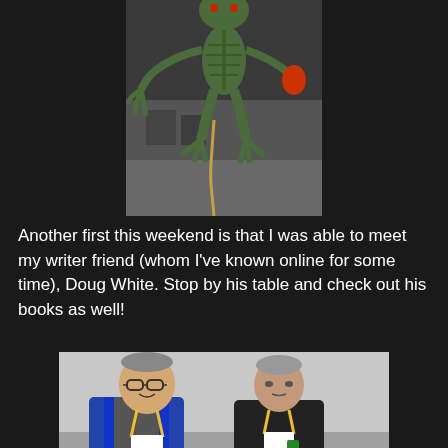[Figure (photo): A large alien/monster creature prop or costume at what appears to be a convention, green skeletal with claws, displayed on a convention floor]
Another first this weekend is that I was able to meet my writer friend (whom I've known online for some time), Doug White. Stop by his table and check out his books as well!
[Figure (photo): Two men posing for a photo at what appears to be a convention, both wearing lanyards/badges. The man on the left has glasses and a blue vest, the man on the right wears a dark shirt.]